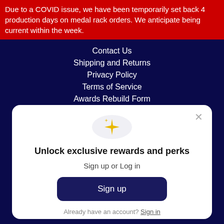Due to a COVID issue, we have been temporarily set back 4 production days on medal rack orders. We anticipate being current within the week.
Contact Us
Shipping and Returns
Privacy Policy
Terms of Service
Awards Rebuild Form
[Figure (illustration): Sparkle/star icon in a light gray circle]
Unlock exclusive rewards and perks
Sign up or Log in
Sign up
Already have an account? Sign in